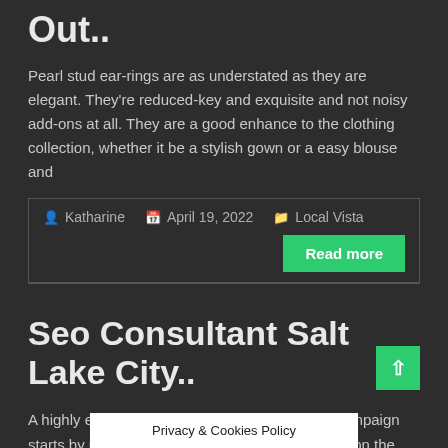Out..
Pearl stud ear-rings are as understated as they are elegant. They're reduced-key and exquisite and not noisy add-ons at all. They are a good enhance to the clothing collection, whether it be a stylish gown or a easy blouse and
Katharine   April 19, 2022   Local Vista
Read more
Seo Consultant Salt Lake City..
A highly effective Search Engine Optimisation campaign starts by making use of keywords to concentrate on the subjects that you simply plan your web site to rank for. In order to rank in the search engine outcomes webpages (SERP's), a
Privacy & Cookies Policy